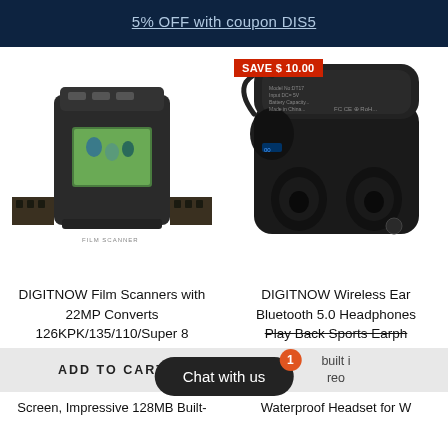5% OFF with coupon DIS5
[Figure (photo): DIGITNOW Film Scanner device with a small color LCD screen showing a family photo, with film strip running through it]
[Figure (photo): DIGITNOW Wireless Earbuds in open charging case with over-ear hooks, Bluetooth earphones]
SAVE $ 10.00
DIGITNOW Film Scanners with 22MP Converts 126KPK/135/110/Super 8
DIGITNOW Wireless Ear Bluetooth 5.0 Headphones Play Back Sports Earph built i reo
ADD TO CART
Screen, Impressive 128MB Built-
Waterproof Headset for W